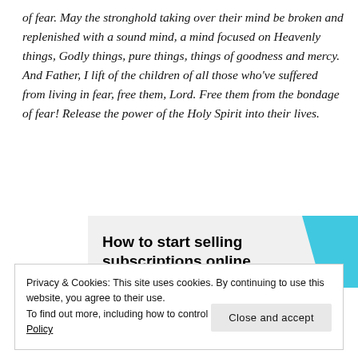of fear. May the stronghold taking over their mind be broken and replenished with a sound mind, a mind focused on Heavenly things, Godly things, pure things, things of goodness and mercy. And Father, I lift of the children of all those who've suffered from living in fear, free them, Lord. Free them from the bondage of fear! Release the power of the Holy Spirit into their lives.
[Figure (other): Advertisement banner with bold text 'How to start selling subscriptions online' and a cyan/light blue geometric shape on the right side]
Privacy & Cookies: This site uses cookies. By continuing to use this website, you agree to their use.
To find out more, including how to control cookies, see here: Cookie Policy
Close and accept